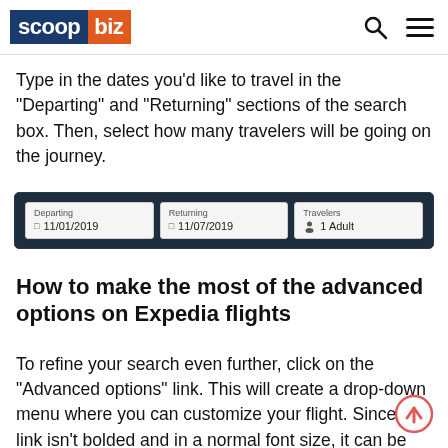scoop biz
Type in the dates you'd like to travel in the “Departing” and “Returning” sections of the search box. Then, select how many travelers will be going on the journey.
[Figure (screenshot): Screenshot of Expedia flight search date fields showing Departing 11/01/2019, Returning 11/07/2019, and Travelers 1 Adult on a dark background]
How to make the most of the advanced options on Expedia flights
To refine your search even further, click on the “Advanced options” link. This will create a drop-down menu where you can customize your flight. Since this link isn’t bolded and in a normal font size, it can be easy to miss.